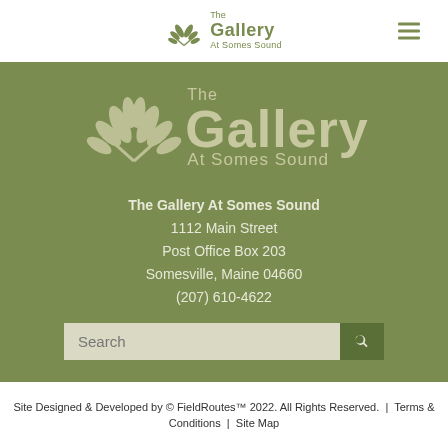The Gallery At Somes Sound (logo + hamburger menu)
[Figure (logo): The Gallery At Somes Sound large logo with laurel wreath emblem on olive green background]
The Gallery At Somes Sound
1112 Main Street
Post Office Box 203
Somesville, Maine 04660
(207) 610-4622
Search
Contact us (207) 610-4622
art@galleryatsomessound.com
Site Designed & Developed by © FieldRoutes™ 2022. All Rights Reserved.  |  Terms & Conditions  |  Site Map